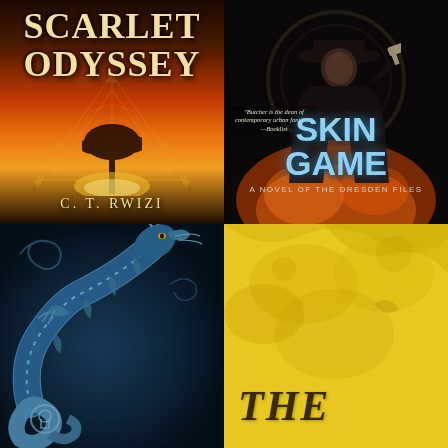[Figure (illustration): Book cover: Scarlet Odyssey by C. T. Rwizi. Warm orange/red African savanna sunset with silhouetted acacia tree and geometric golden line art overlay. Title in large cream serif font, author name at bottom.]
[Figure (illustration): Book cover: Skin Game by Jim Butcher, A Novel of the Dresden Files. Dark figure in black coat and hat holding a gun against fiery background. Author name at top in grey, title in large ice-blue text at bottom.]
[Figure (illustration): Book cover (partial, bottom-left): Dark background with ornate blue/teal dragon illustration in detailed style, with a circular keyhole design.]
[Figure (illustration): Book cover (partial, bottom-right): Bright yellow/gold background with the word THE in large italic serif font, partially visible at bottom.]